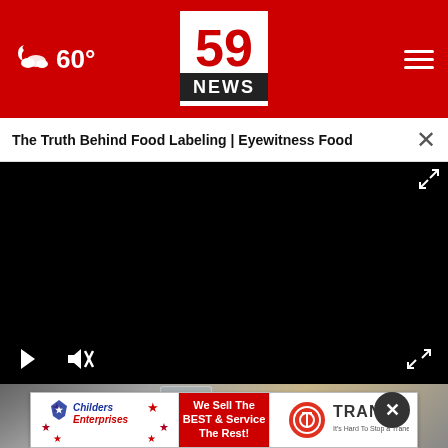60° — 59 NEWS header with weather and navigation
The Truth Behind Food Labeling | Eyewitness Food
[Figure (screenshot): Video player showing a black screen with play button, mute button, and fullscreen expand icon. Video title: The Truth Behind Food Labeling | Eyewitness Food]
[Figure (photo): Photo strip showing a glass of water being filled at a kitchen sink, partially visible below the video player]
[Figure (infographic): Advertisement banner for Childers Enterprises and Trane HVAC. Text: We Sell The BEST & Service The Rest! It's Hard To Stop a Trane.]